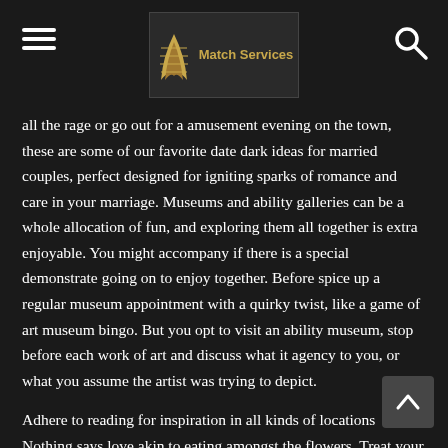Match Services (logo)
all the rage or go out for a amusement evening on the town, these are some of our favorite date dark ideas for married couples, perfect designed for igniting sparks of romance and care in your marriage. Museums and ability galleries can be a whole allocation of fun, and exploring them all together is extra enjoyable. You might accompany if there is a special demonstrate going on to enjoy together. Before spice up a regular museum appointment with a quirky twist, like a game of art museum bingo. But you opt to visit an ability museum, stop before each work of art and discuss what it agency to you, or what you assume the artist was trying to depict.
Adhere to reading for inspiration in all kinds of locations Nothing says love akin to eating amongst the flowers. Treat your date to a fairytale experience as a result of hanging